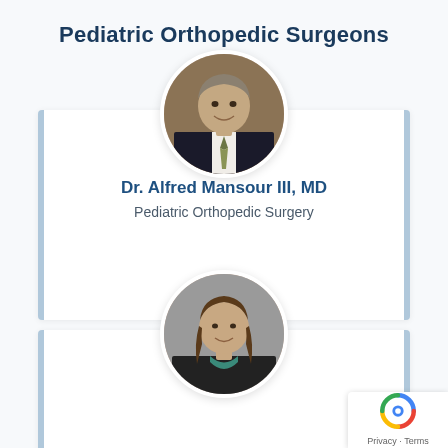Pediatric Orthopedic Surgeons
[Figure (photo): Circular headshot of Dr. Alfred Mansour III, MD - a middle-aged man in a dark suit and tie, smiling, with short gray-brown hair, against a brown studio background]
Dr. Alfred Mansour III, MD
Pediatric Orthopedic Surgery
[Figure (photo): Circular headshot of a female doctor - a woman with long brown hair, wearing a black top with a teal/green neckline, smiling, against a gray studio background]
Privacy · Terms